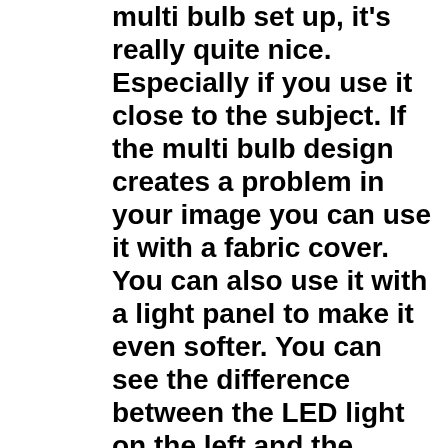multi bulb set up, it's really quite nice. Especially if you use it close to the subject. If the multi bulb design creates a problem in your image you can use it with a fabric cover. You can also use it with a light panel to make it even softer. You can see the difference between the LED light on the left and the Lowell Omni light on the right below. Both